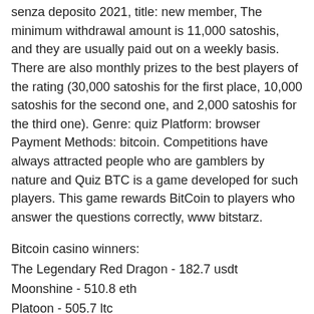senza deposito 2021, title: new member, The minimum withdrawal amount is 11,000 satoshis, and they are usually paid out on a weekly basis. There are also monthly prizes to the best players of the rating (30,000 satoshis for the first place, 10,000 satoshis for the second one, and 2,000 satoshis for the third one). Genre: quiz Platform: browser Payment Methods: bitcoin. Competitions have always attracted people who are gamblers by nature and Quiz BTC is a game developed for such players. This game rewards BitCoin to players who answer the questions correctly, www bitstarz.
Bitcoin casino winners:
The Legendary Red Dragon - 182.7 usdt
Moonshine - 510.8 eth
Platoon - 505.7 ltc
Book of Crazy Chicken - 635.2 usdt
Energy Stars - 84.6 ltc
Alice in Wonderland - 525.2 bch